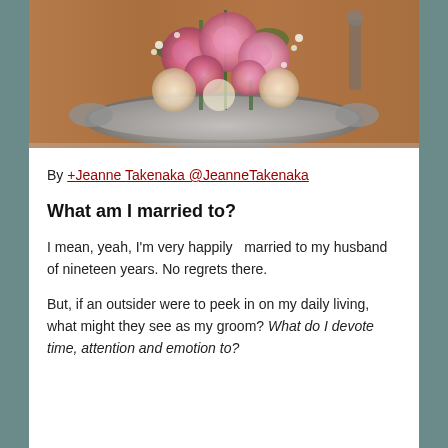[Figure (photo): A photograph of pink carnation flowers arranged in a silver ornate tray/vase on a wooden surface, with greenery and a candle holder visible in the background.]
By +Jeanne Takenaka @JeanneTakenaka
What am I married to?
I mean, yeah, I'm very happily  married to my husband of nineteen years. No regrets there.
But, if an outsider were to peek in on my daily living, what might they see as my groom? What do I devote time, attention and emotion to?